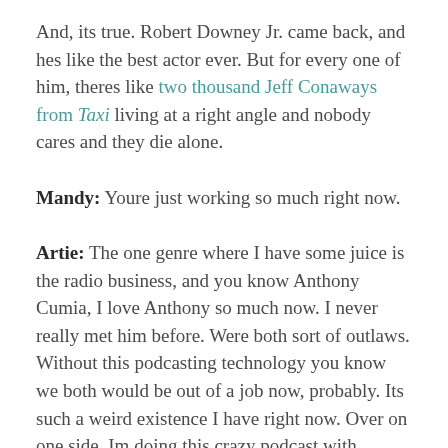And, its true. Robert Downey Jr. came back, and hes like the best actor ever. But for every one of him, theres like two thousand Jeff Conaways from Taxi living at a right angle and nobody cares and they die alone.
Mandy: Youre just working so much right now.
Artie: The one genre where I have some juice is the radio business, and you know Anthony Cumia, I love Anthony so much now. I never really met him before. Were both sort of outlaws. Without this podcasting technology you know we both would be out of a job now, probably. Its such a weird existence I have right now. Over on one side, Im doing this crazy podcast with Anthony on Compound Media that I love, and then Im on Crashingwhich is an HBO produced show...